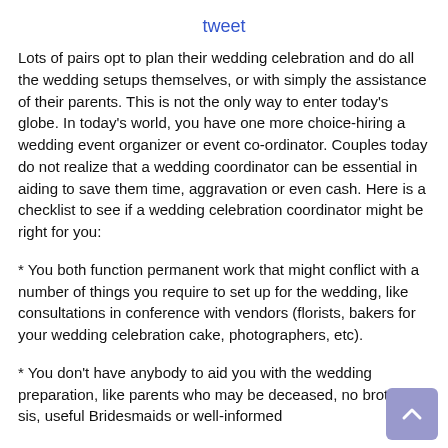tweet
Lots of pairs opt to plan their wedding celebration and do all the wedding setups themselves, or with simply the assistance of their parents. This is not the only way to enter today’s globe. In today’s world, you have one more choice-hiring a wedding event organizer or event co-ordinator. Couples today do not realize that a wedding coordinator can be essential in aiding to save them time, aggravation or even cash. Here is a checklist to see if a wedding celebration coordinator might be right for you:
* You both function permanent work that might conflict with a number of things you require to set up for the wedding, like consultations in conference with vendors (florists, bakers for your wedding celebration cake, photographers, etc).
* You don’t have anybody to aid you with the wedding preparation, like parents who may be deceased, no brother or sis, useful Bridesmaids or well-informed